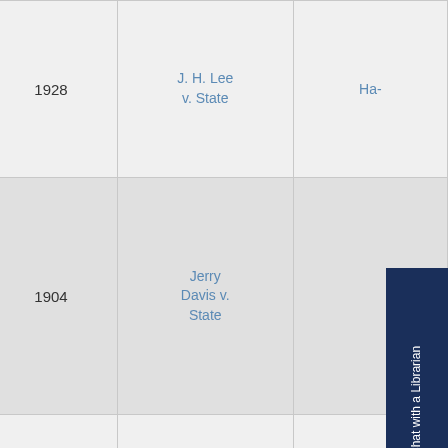| Action | Year | Case Name | Details |
| --- | --- | --- | --- |
| View Entry | 1928 | J. H. Lee v. State | Ha- |
| View Entry | 1904 | Jerry Davis v. State |  |
| View Entry | 1946 | Jess Edwards v. State | U- |
Click Here to Chat with a Librarian